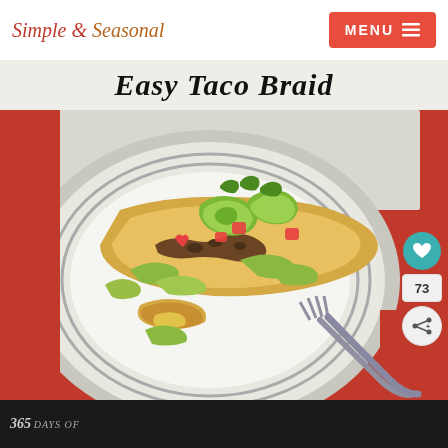Simple & Seasonal | MENU
Easy Taco Braid
[Figure (photo): A plate with a slice of taco braid topped with avocado, tomato, lettuce and cilantro, with a fork resting on the plate on a red napkin background]
73
365 DAYS OF